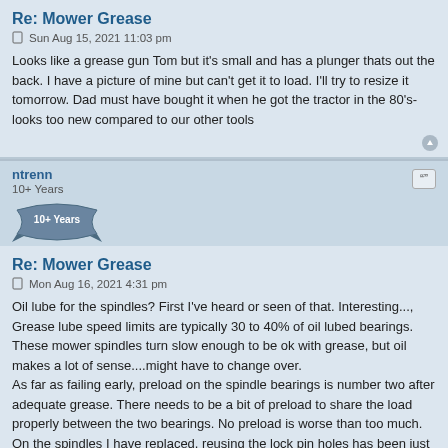Re: Mower Grease
Sun Aug 15, 2021 11:03 pm
Looks like a grease gun Tom but it's small and has a plunger thats out the back. I have a picture of mine but can't get it to load. I'll try to resize it tomorrow. Dad must have bought it when he got the tractor in the 80's-looks too new compared to our other tools
ntrenn
10+ Years
Re: Mower Grease
Mon Aug 16, 2021 4:31 pm
Oil lube for the spindles? First I've heard or seen of that. Interesting..., Grease lube speed limits are typically 30 to 40% of oil lubed bearings. These mower spindles turn slow enough to be ok with grease, but oil makes a lot of sense....might have to change over.
As far as failing early, preload on the spindle bearings is number two after adequate grease. There needs to be a bit of preload to share the load properly between the two bearings. No preload is worse than too much. On the spindles I have replaced, reusing the lock pin holes has been just about right.